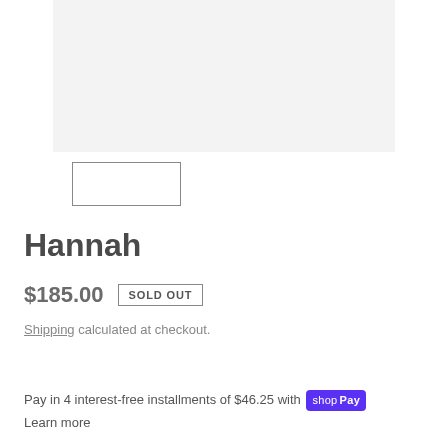[Figure (photo): Large light gray product image placeholder area]
[Figure (photo): Small thumbnail image placeholder with border]
Hannah
$185.00  SOLD OUT
Shipping calculated at checkout.
Pay in 4 interest-free installments of $46.25 with Shop Pay
Learn more